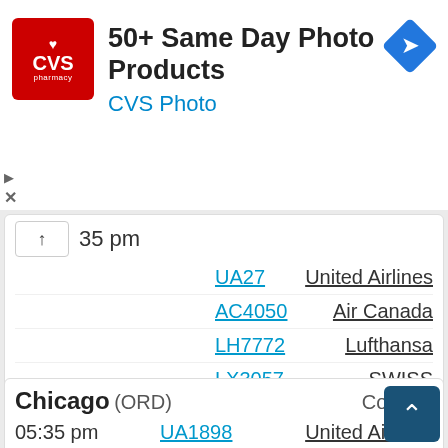[Figure (screenshot): CVS Pharmacy advertisement banner with red logo, text '50+ Same Day Photo Products CVS Photo', and blue navigation diamond icon]
35 pm
UA27	United Airlines
AC4050	Air Canada
LH7772	Lufthansa
LX3057	SWISS
OS7991	Austrian
SN9023	Brussels Airlines
Scheduled - On-time [+]
Chicago (ORD)	Conc. B
05:35 pm
UA1898	United Airlines
AC5784	Air Canada
LH7467	Lufthansa